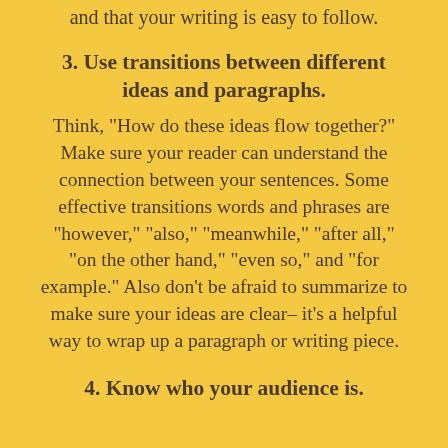and that your writing is easy to follow.
3. Use transitions between different ideas and paragraphs.
Think, "How do these ideas flow together?" Make sure your reader can understand the connection between your sentences. Some effective transitions words and phrases are "however," "also," "meanwhile," "after all," "on the other hand," "even so," and "for example." Also don't be afraid to summarize to make sure your ideas are clear– it's a helpful way to wrap up a paragraph or writing piece.
4. Know who your audience is.